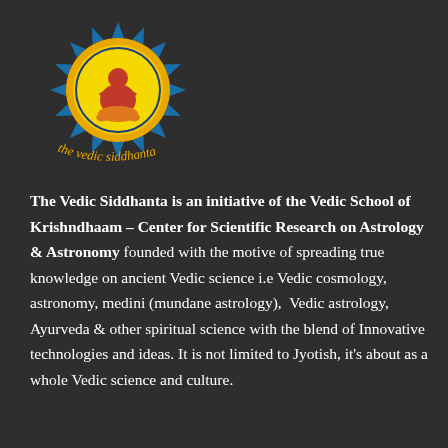[Figure (logo): The Vedic Siddhanta logo: a yellow circle with a red meditating figure sitting on an orange lotus, surrounded by blue and yellow sun-ray petals, with curved text 'the vedic siddhanta' in orange/yellow below]
The Vedic Siddhanta is an initiative of the Vedic School of Krishndhaam – Center for Scientific Research on Astrology & Astronomy founded with the motive of spreading true knowledge on ancient Vedic science i.e Vedic cosmology, astronomy, medini (mundane astrology),  Vedic astrology, Ayurveda & other spiritual science with the blend of Innovative technologies and ideas. It is not limited to Jyotish, it's about as a whole Vedic science and culture.